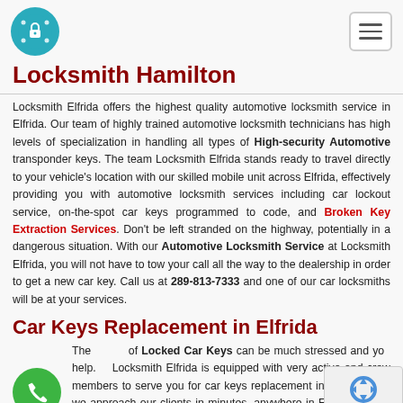Locksmith Hamilton
Locksmith Hamilton
Locksmith Elfrida offers the highest quality automotive locksmith service in Elfrida. Our team of highly trained automotive locksmith technicians has high levels of specialization in handling all types of High-security Automotive transponder keys. The team Locksmith Elfrida stands ready to travel directly to your vehicle's location with our skilled mobile unit across Elfrida, effectively providing you with automotive locksmith services including car lockout service, on-the-spot car keys programmed to code, and Broken Key Extraction Services. Don't be left stranded on the highway, potentially in a dangerous situation. With our Automotive Locksmith Service at Locksmith Elfrida, you will not have to tow your call all the way to the dealership in order to get a new car key. Call us at 289-813-7333 and one of our car locksmiths will be at your services.
Car Keys Replacement in Elfrida
The loss of Locked Car Keys can be much stressed and you help. Locksmith Elfrida is equipped with very active and crew members to serve you for car keys replacement in the best fact, we approach our clients in minutes, anywhere in Elfrida and we also